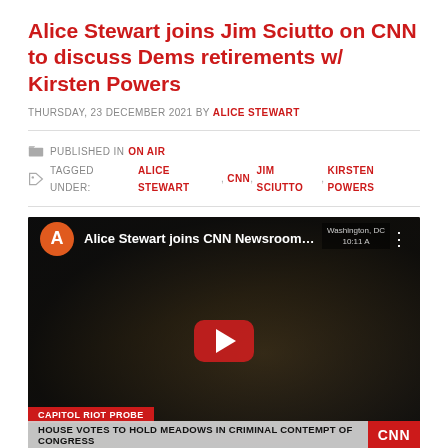Alice Stewart joins Jim Sciutto on CNN to discuss Dems retirements w/ Kirsten Powers
THURSDAY, 23 DECEMBER 2021 BY ALICE STEWART
PUBLISHED IN ON AIR
TAGGED UNDER: ALICE STEWART, CNN, JIM SCIUTTO, KIRSTEN POWERS
[Figure (screenshot): YouTube video embed showing Alice Stewart joining CNN Newsroom. The thumbnail shows a blonde woman at a news desk with lower thirds reading 'CAPITOL RIOT PROBE' and 'HOUSE VOTES TO HOLD MEADOWS IN CRIMINAL CONTEMPT OF CONGRESS' with CNN logo. A red YouTube play button is visible in the center.]